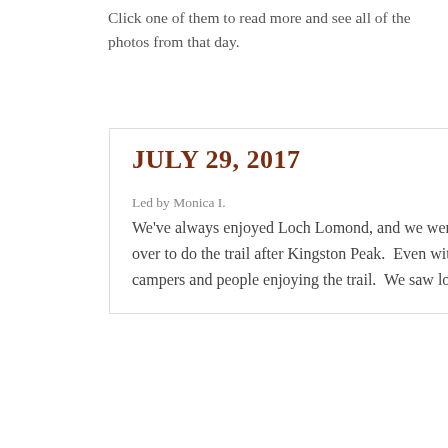Click one of them to read more and see all of the photos from that day.
JULY 29, 2017
Led by Monica I.
We've always enjoyed Loch Lomond, and we were in the area with time to spare so we headed over to do the trail after Kingston Peak.  Even with the fire ban, the trail was pretty crowded with campers and people enjoying the trail.  We saw lots of cars, too, with...